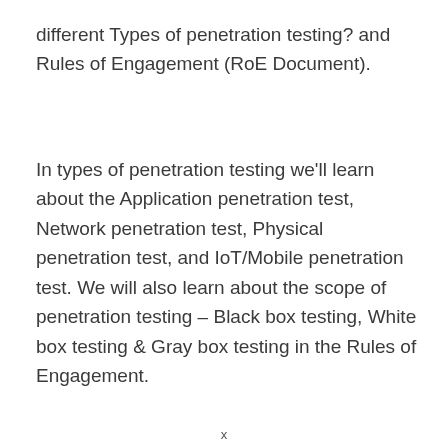different Types of penetration testing? and Rules of Engagement (RoE Document).
In types of penetration testing we'll learn about the Application penetration test, Network penetration test, Physical penetration test, and IoT/Mobile penetration test. We will also learn about the scope of penetration testing – Black box testing, White box testing & Gray box testing in the Rules of Engagement.
x